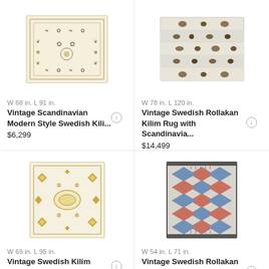[Figure (photo): Vintage Scandinavian Modern Style Swedish Kilim rug thumbnail - cream/beige with floral motifs]
W 68 in. L 91 in.
Vintage Scandinavian Modern Style Swedish Kili...
$6,299
[Figure (photo): Vintage Swedish Rollakan Kilim Rug with Scandinavian design - striped pattern with animal motifs]
W 78 in. L 120 in.
Vintage Swedish Rollakan Kilim Rug with Scandinavia...
$14,499
[Figure (photo): Vintage Swedish Kilim Rollakan Rug - cream/beige with yellow and tan geometric diamond pattern]
W 69 in. L 95 in.
Vintage Swedish Kilim Rollakan Rug with...
$5,899
[Figure (photo): Vintage Swedish Rollakan Kilim Rug with Scandinavian design - grey background with blue and terracotta diamond shapes]
W 54 in. L 71 in.
Vintage Swedish Rollakan Kilim Rug with Scandinavia...
$7,999